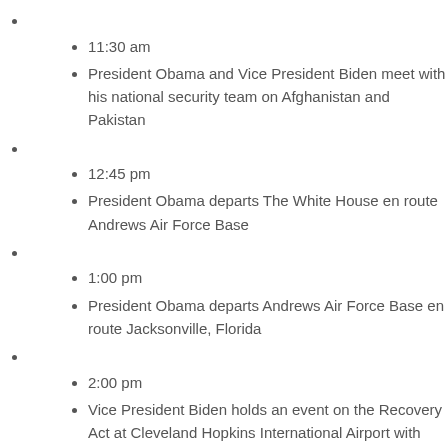11:30 am
President Obama and Vice President Biden meet with his national security team on Afghanistan and Pakistan
12:45 pm
President Obama departs The White House en route Andrews Air Force Base
1:00 pm
President Obama departs Andrews Air Force Base en route Jacksonville, Florida
2:00 pm
Vice President Biden holds an event on the Recovery Act at Cleveland Hopkins International Airport with Sen. Brown and Mayor Jackson